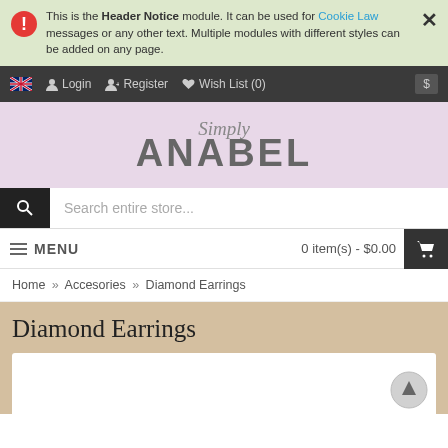This is the Header Notice module. It can be used for Cookie Law messages or any other text. Multiple modules with different styles can be added on any page.
Login  Register  Wish List (0)
[Figure (logo): Simply Anabel jewelry store logo with italic 'Simply' above bold 'ANABEL' on a pink/lavender background]
Search entire store...
MENU   0 item(s) - $0.00
Home » Accesories » Diamond Earrings
Diamond Earrings
[Figure (photo): White product image area for Diamond Earrings with scroll-to-top circular button at bottom right]